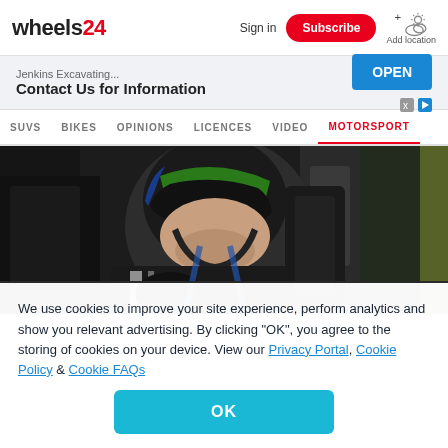wheels24 | Sign in | Subscribe | Add location
[Figure (screenshot): Advertisement banner: Jenkins Excavating... Contact Us for Information | OPEN button]
SUVS  BIKES  OPINIONS  LICENCES  VIDEO  MOTORSPORT
[Figure (photo): Racing driver in helmet and race suit seated inside a car cockpit, smiling at camera]
We use cookies to improve your site experience, perform analytics and show you relevant advertising. By clicking "OK", you agree to the storing of cookies on your device. View our Privacy Portal, Cookie Policy & Cookie FAQs
OK